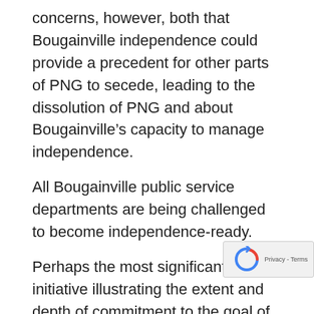concerns, however, both that Bougainville independence could provide a precedent for other parts of PNG to secede, leading to the dissolution of PNG and about Bougainville's capacity to manage independence.
All Bougainville public service departments are being challenged to become independence-ready.
Perhaps the most significant initiative illustrating the extent and depth of commitment to the goal of early independence is the ABG's multi-faceted "independence-ready" program. Launched by a late 2020 resolution of the ABG House of Representatives, the program was inspired by the highly successful 2016 to 2019 ABG constituency-based "referendum-ready" program, which made significant contributions to local-level referendum-awareness. The independence-ready program has a similar constituent based focus, intended to facilitate constituents to...